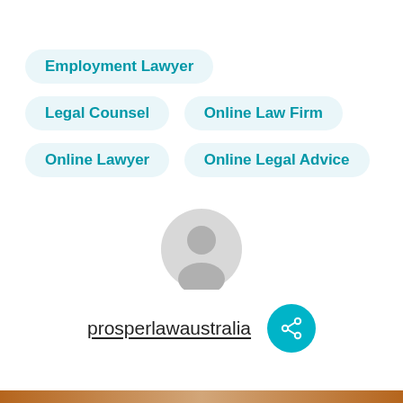Employment Lawyer
Legal Counsel
Online Law Firm
Online Lawyer
Online Legal Advice
[Figure (illustration): Generic grey user avatar icon (silhouette of a person in a circle)]
prosperlawaustralia